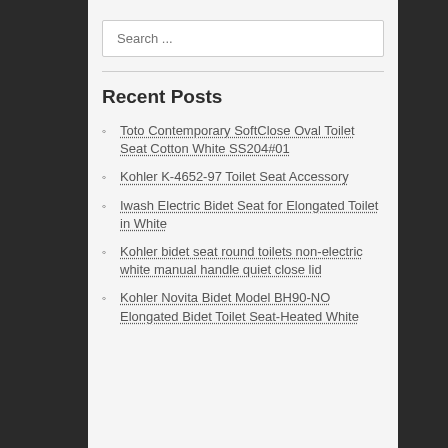Search ...
Recent Posts
Toto Contemporary SoftClose Oval Toilet Seat Cotton White SS204#01
Kohler K-4652-97 Toilet Seat Accessory
Iwash Electric Bidet Seat for Elongated Toilet in White
Kohler bidet seat round toilets non-electric white manual handle quiet close lid
Kohler Novita Bidet Model BH90-NO Elongated Bidet Toilet Seat-Heated White